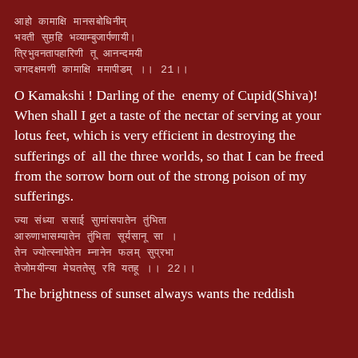Sanskrit verse lines 1-4 (Devanagari script)
O Kamakshi ! Darling of the  enemy of Cupid(Shiva)! When shall I get a taste of the nectar of serving at your lotus feet, which is very efficient in destroying the sufferings of  all the three worlds, so that I can be freed from the sorrow born out of the strong poison of my sufferings.
Sanskrit verse lines 5-8 (Devanagari script)
The brightness of sunset always wants the reddish